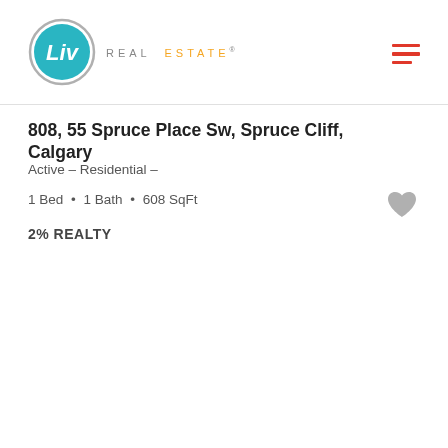[Figure (logo): Liv Real Estate logo: teal circle with 'Liv' in white text, beside grey text 'REAL ESTATE' with registered trademark symbol]
808, 55 Spruce Place Sw, Spruce Cliff, Calgary
Active - Residential -
1 Bed • 1 Bath • 608 SqFt
2% REALTY